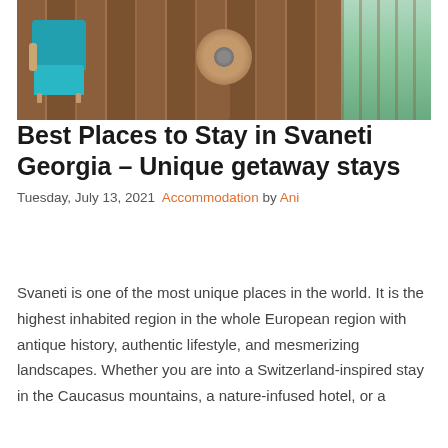[Figure (photo): Hotel room interior with a teal/turquoise armchair, round wooden side table with ashtray, wood-paneled walls, and a window with greenery visible outside.]
Best Places to Stay in Svaneti Georgia – Unique getaway stays
Tuesday, July 13, 2021  Accommodation by Ani
Svaneti is one of the most unique places in the world. It is the highest inhabited region in the whole European region with antique history, authentic lifestyle, and mesmerizing landscapes. Whether you are into a Switzerland-inspired stay in the Caucasus mountains, a nature-infused hotel, or a f...